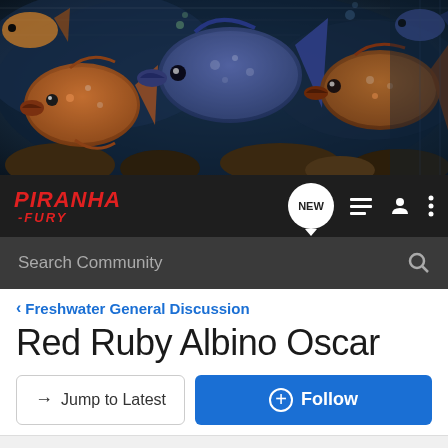[Figure (photo): Banner photo of piranhas swimming in an aquarium with blue and brown tones]
PIRANHA -FURY · NEW · menu icons · user icon · more options
Search Community
< Freshwater General Discussion
Red Ruby Albino Oscar
→ Jump to Latest   ⊕ Follow
1 - 8 of 8 Posts
traumatic · what up NINJA
Joined Jan 29, 2003 · 4,581 Posts